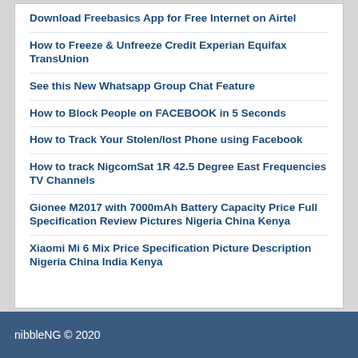Download Freebasics App for Free Internet on Airtel
How to Freeze & Unfreeze Credit Experian Equifax TransUnion
See this New Whatsapp Group Chat Feature
How to Block People on FACEBOOK in 5 Seconds
How to Track Your Stolen/lost Phone using Facebook
How to track NigcomSat 1R 42.5 Degree East Frequencies TV Channels
Gionee M2017 with 7000mAh Battery Capacity Price Full Specification Review Pictures Nigeria China Kenya
Xiaomi Mi 6 Mix Price Specification Picture Description Nigeria China India Kenya
nibbleNG © 2020